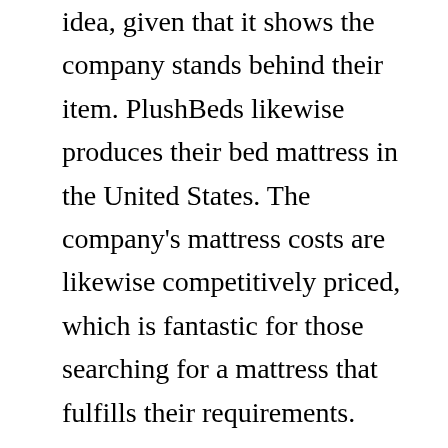idea, given that it shows the company stands behind their item. PlushBeds likewise produces their bed mattress in the United States. The company's mattress costs are likewise competitively priced, which is fantastic for those searching for a mattress that fulfills their requirements.
In regards to materials, PlushBeds has actually made some terrific choices for its bed mattress line. Among the most notable designs is the Botanical Happiness, which is made with naturally grown, environmentally